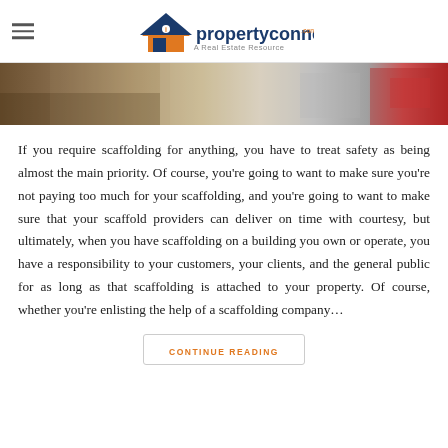ipropertyconnect - A Real Estate Resource
[Figure (photo): Construction site photo showing scaffolding, dirt/soil, machinery, and a red piece of equipment]
If you require scaffolding for anything, you have to treat safety as being almost the main priority. Of course, you're going to want to make sure you're not paying too much for your scaffolding, and you're going to want to make sure that your scaffold providers can deliver on time with courtesy, but ultimately, when you have scaffolding on a building you own or operate, you have a responsibility to your customers, your clients, and the general public for as long as that scaffolding is attached to your property. Of course, whether you're enlisting the help of a scaffolding company...
CONTINUE READING